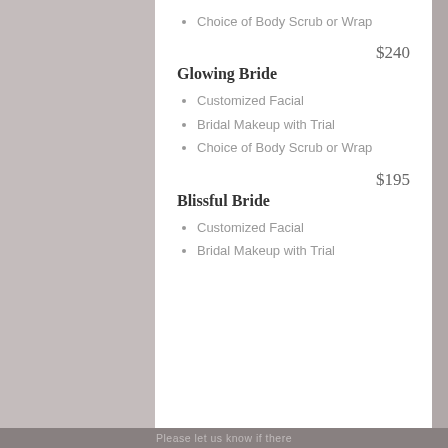Choice of Body Scrub or Wrap
$240
Glowing Bride
Customized Facial
Bridal Makeup with Trial
Choice of Body Scrub or Wrap
$195
Blissful Bride
Customized Facial
Bridal Makeup with Trial
VISIT BLISS SKIN SPA
5489 Liberty Avenue ~ Vermilion, Ohio 44089
For Appointments call 440.963.0545
Mon: 9a-5p   Tues: 9a-7p   Wed: 9a-8p   Thur: 9a-5p   Fri: 9a-5p   Sat: 9a-6p   Sun: 9a-2p